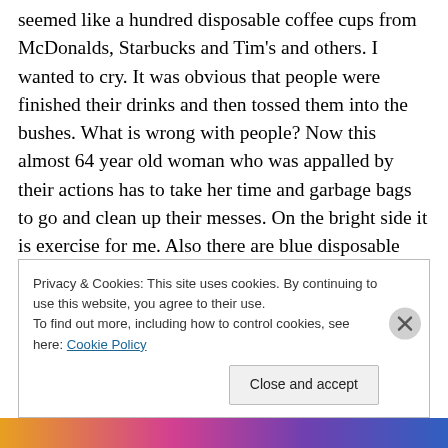seemed like a hundred disposable coffee cups from McDonalds, Starbucks and Tim's and others. I wanted to cry. It was obvious that people were finished their drinks and then tossed them into the bushes. What is wrong with people? Now this almost 64 year old woman who was appalled by their actions has to take her time and garbage bags to go and clean up their messes. On the bright side it is exercise for me. Also there are blue disposable masks everywhere and I mean everywhere. Come on people! Are you neighbourhoods like mine? People cannot say that it is only the old or poor neighbourhoods that are dirty and
Privacy & Cookies: This site uses cookies. By continuing to use this website, you agree to their use.
To find out more, including how to control cookies, see here: Cookie Policy